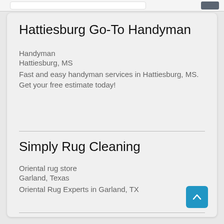Hattiesburg Go-To Handyman
Handyman
Hattiesburg, MS
Fast and easy handyman services in Hattiesburg, MS. Get your free estimate today!
Simply Rug Cleaning
Oriental rug store
Garland, Texas
Oriental Rug Experts in Garland, TX